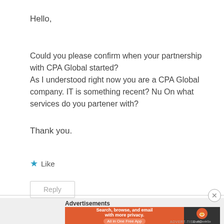Hello,
Could you please confirm when your partnership with CPA Global started?
As I understood right now you are a CPA Global company. IT is something recent? Nu On what services do you partener with?
Thank you.
★ Like
Reply
Advertisements
[Figure (screenshot): DuckDuckGo advertisement banner: orange background on left with text 'Search, browse, and email with more privacy.' and 'All in One Free App', dark background on right with DuckDuckGo logo and name.]